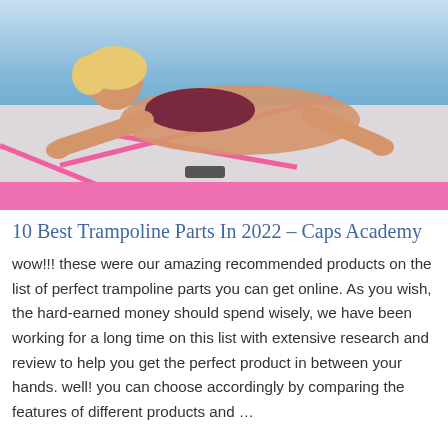[Figure (photo): A woman with blonde hair wearing a dark red/maroon bikini top doing a pushup on a pink and white inflatable air track mat floating on blue water.]
10 Best Trampoline Parts In 2022 - Caps Academy
wow!!! these were our amazing recommended products on the list of perfect trampoline parts you can get online. As you wish, the hard-earned money should spend wisely, we have been working for a long time on this list with extensive research and review to help you get the perfect product in between your hands. well! you can choose accordingly by comparing the features of different products and ...